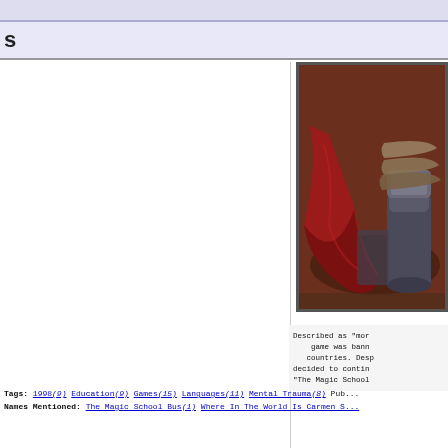s
[Figure (illustration): Illustration of armored boots/legs with a red cape draped around them, on a brown background. The character appears to be wearing medieval or fantasy armor with rope wrapped around the leg armor.]
Described as "mor... game was bann... countries. Desp... decided to contin... "The Magic School...
Tags: 1998(9) Education(9) Games(15) Languages(11) Mental Trauma(8) Pub...
Names Mentioned: The Magic School Bus(1) Where In The World Is Carmen S...